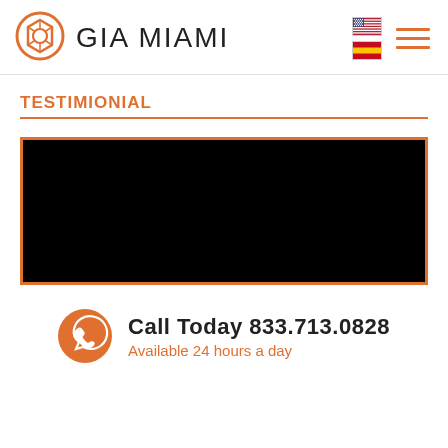[Figure (logo): GIA Miami logo with orange hexagonal camera aperture icon and text GIA MIAMI]
[Figure (other): Navigation area with US and Spain flag icons and orange hamburger menu lines]
TESTIMIONIAL
[Figure (other): Black video player embed rectangle with orange border]
Call Today 833.713.0828
Available 24 hours a day